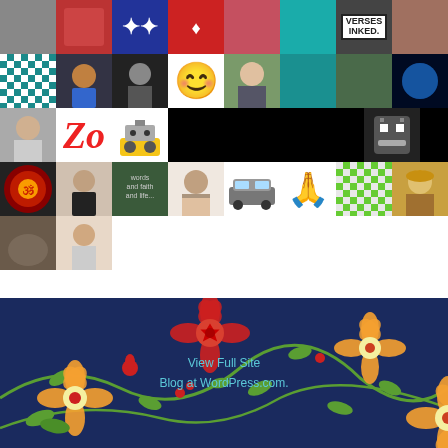[Figure (photo): A mosaic/grid of profile avatars and icons from a WordPress blog follower section, arranged in 5 rows of 8 thumbnails each, plus 2 additional thumbnails in a 6th row. Includes photos of people, emoji faces, decorative patterns, text logos, and icons.]
[Figure (illustration): Decorative floral footer background with orange and red flowers on a dark navy blue background with green leaves and vines.]
View Full Site
Blog at WordPress.com.